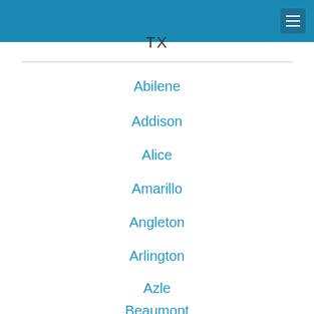TX
Abilene
Addison
Alice
Amarillo
Angleton
Arlington
Azle
Beaumont